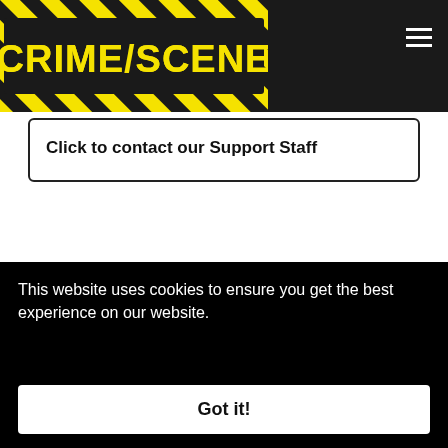[Figure (logo): Crime Scene logo with yellow and black hazard tape stripes, bold yellow text reading CRIME SCENE on dark background]
Click to contact our Support Staff
Administration
Join the Crime Scene team
Privacy Policy
Terms of Service
Cookie Policy
This website uses cookies to ensure you get the best experience on our website.
Got it!